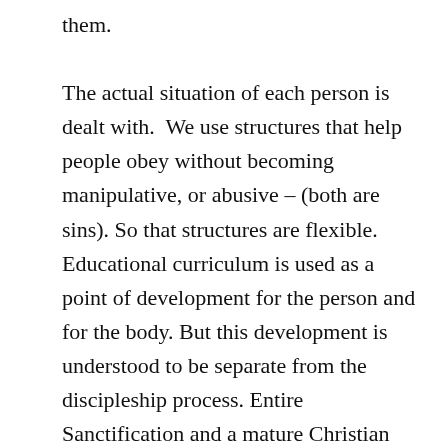them. The actual situation of each person is dealt with.  We use structures that help people obey without becoming manipulative, or abusive – (both are sins). So that structures are flexible. Educational curriculum is used as a point of development for the person and for the body. But this development is understood to be separate from the discipleship process. Entire Sanctification and a mature Christian walk are promised and hopeful for every Christian.

We will explore the types of actions a pastor needs to take in our next posts. How do we institute discipleship as obedience in a small